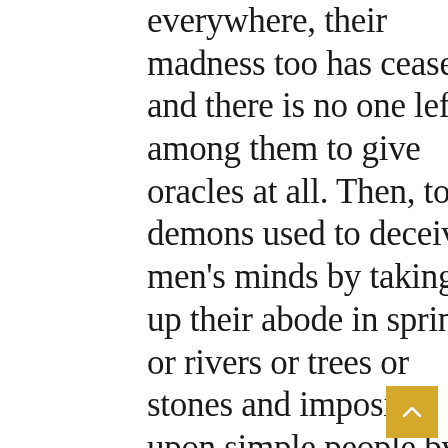everywhere, their madness too has ceased, and there is no one left among them to give oracles at all. Then, too, demons used to deceive men's minds by taking up their abode in springs or rivers or trees or stones and imposing upon simple people by their frauds. But now, since the Divine appearing of the